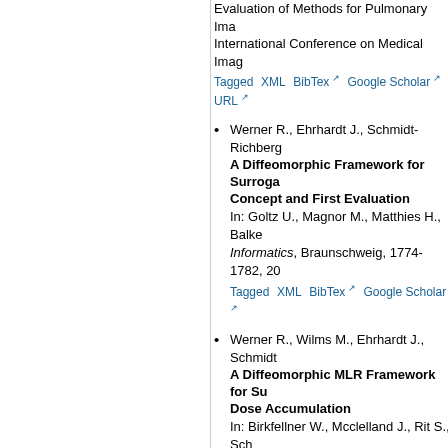Evaluation of Methods for Pulmonary Ima... International Conference on Medical Imag... Tagged XML BibTex Google Scholar URL
Werner R., Ehrhardt J., Schmidt-Richberg... A Diffeomorphic Framework for Surrogate Concept and First Evaluation. In: Goltz U., Magnor M., Matthies H., Balke... Informatics, Braunschweig, 1774-1782, 20... Tagged XML BibTex Google Scholar
Werner R., Wilms M., Ehrhardt J., Schmidt... A Diffeomorphic MLR Framework for Su... Dose Accumulation. In: Birkfellner W., Mcclelland J., Rit S., Sch... Multimodal Dose Planning in Radiation Th... Tagged XML BibTex Google Scholar
Schmidt-Richberg A., Ehrhardt J., Werner... Direction-Dependent Regularization for... Image Data. In: SPIE Medical Imaging 2010: Image Pro... 76232Y8, 2010. Tagged XML BibTex Google Scholar DOI
Werner R., Ehrhardt J., Schmidt-Richberg... Dose Accumulation Based on Optimize... in Thoracic 4D CT Image Data. In: Dössel O., Schlegel W.C. (eds.), World... Munich, Germany, IFBME Proceedings, S... Tagged XML BibTex Google Scholar
Seehase A., Grohmann C., Werner R., Too...